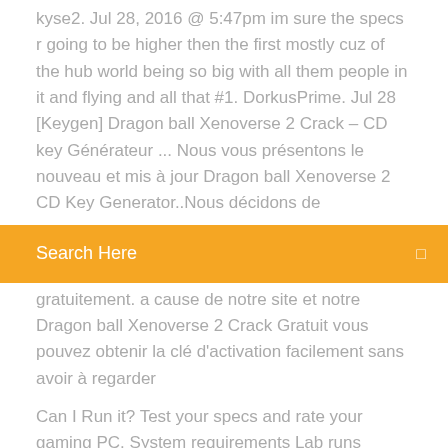kyse2. Jul 28, 2016 @ 5:47pm im sure the specs r going to be higher then the first mostly cuz of the hub world being so big with all them people in it and flying and all that #1. DorkusPrime. Jul 28 [Keygen] Dragon ball Xenoverse 2 Crack – CD key Générateur ... Nous vous présentons le nouveau et mis à jour Dragon ball Xenoverse 2 CD Key Generator..Nous décidons de
[Figure (other): Orange search bar with text 'Search Here' and a small square icon on the right]
gratuitement. a cause de notre site et notre Dragon ball Xenoverse 2 Crack Gratuit vous pouvez obtenir la clé d'activation facilement sans avoir à regarder
Can I Run it? Test your specs and rate your gaming PC. System requirements Lab runs millions of PC requirements tests on over 6,000 games a month. Can You Run It. Click here to see Recommended Computer . Latest Graphic Cards. Here are the DRAGON BALL XENOVERSE 2 System Requirements (Minimum) CPU: Intel Core 2 Quad Q6600 2.4 GHz or AMD